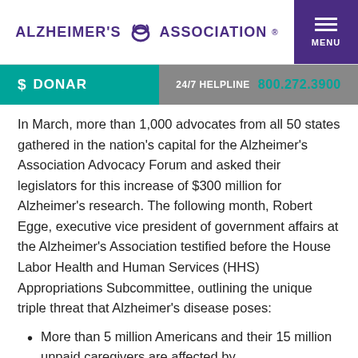ALZHEIMER'S ASSOCIATION®
$ DONAR
24/7 HELPLINE 800.272.3900
In March, more than 1,000 advocates from all 50 states gathered in the nation's capital for the Alzheimer's Association Advocacy Forum and asked their legislators for this increase of $300 million for Alzheimer's research. The following month, Robert Egge, executive vice president of government affairs at the Alzheimer's Association testified before the House Labor Health and Human Services (HHS) Appropriations Subcommittee, outlining the unique triple threat that Alzheimer's disease poses:
More than 5 million Americans and their 15 million unpaid caregivers are affected by